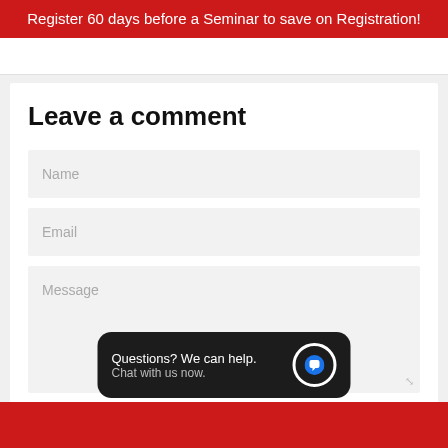Register 60 days before a Seminar to save on Registration!
Leave a comment
Name
Email
Message
Questions? We can help. Chat with us now.